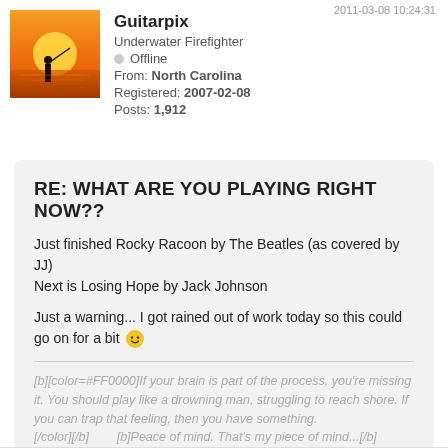2011-03-08 10:24:31
[Figure (photo): Avatar image of a person silhouetted against a sunset, standing on a beach with fishing rod]
Guitarpix
Underwater Firefighter
Offline
From: North Carolina
Registered: 2007-02-08
Posts: 1,912
RE: WHAT ARE YOU PLAYING RIGHT NOW??
Just finished Rocky Racoon by The Beatles (as covered by JJ)
Next is Losing Hope by Jack Johnson

Just a warning... I got rained out of work today so this could go on for a bit 🙂
[b][color=#FF0000]If your brain is part of the process, you're missing it. You should play like a drowning man, struggling to reach shore. If you can trap that feeling, then you have something.
[/color][/b]        [b]Peace of mind. That's my piece of mind...[/b]